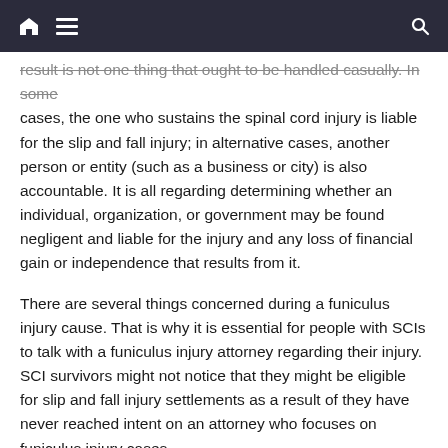Navigation bar with home, menu, and search icons
result is not one thing that ought to be handled casually. In some cases, the one who sustains the spinal cord injury is liable for the slip and fall injury; in alternative cases, another person or entity (such as a business or city) is also accountable. It is all regarding determining whether an individual, organization, or government may be found negligent and liable for the injury and any loss of financial gain or independence that results from it.
There are several things concerned during a funiculus injury cause. That is why it is essential for people with SCIs to talk with a funiculus injury attorney regarding their injury. SCI survivors might not notice that they might be eligible for slip and fall injury settlements as a result of they have never reached intent on an attorney who focuses on funiculus injury cases.
To see whether you or your loved one could have a slip and fall spinal cord injury case, please contact a lawyer to Pursue Justice